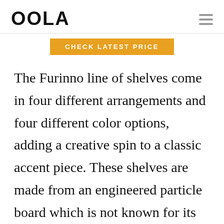OOLA
[Figure (logo): OOLA logo in bold black text with hamburger menu icon on the right]
CHECK LATEST PRICE
The Furinno line of shelves come in four different arrangements and four different color options, adding a creative spin to a classic accent piece. These shelves are made from an engineered particle board which is not known for its longevity, however, if assembled correctly and cared for well you should get many years of use out of it. Assembly takes very little time needing only a screwdriver or a power drill if you prefer.